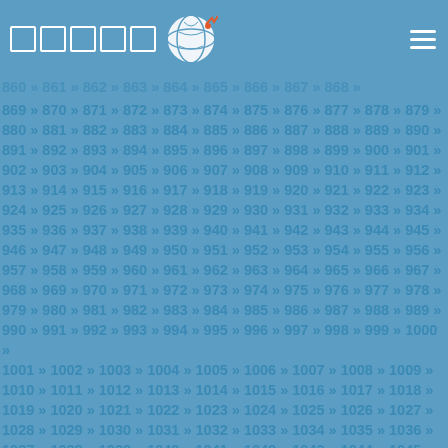Navigation page with numbered links from 869 to 1081
869 » 870 » 871 » 872 » 873 » 874 » 875 » 876 » 877 » 878 » 879 » 880 » 881 » 882 » 883 » 884 » 885 » 886 » 887 » 888 » 889 » 890 » 891 » 892 » 893 » 894 » 895 » 896 » 897 » 898 » 899 » 900 » 901 » 902 » 903 » 904 » 905 » 906 » 907 » 908 » 909 » 910 » 911 » 912 » 913 » 914 » 915 » 916 » 917 » 918 » 919 » 920 » 921 » 922 » 923 » 924 » 925 » 926 » 927 » 928 » 929 » 930 » 931 » 932 » 933 » 934 » 935 » 936 » 937 » 938 » 939 » 940 » 941 » 942 » 943 » 944 » 945 » 946 » 947 » 948 » 949 » 950 » 951 » 952 » 953 » 954 » 955 » 956 » 957 » 958 » 959 » 960 » 961 » 962 » 963 » 964 » 965 » 966 » 967 » 968 » 969 » 970 » 971 » 972 » 973 » 974 » 975 » 976 » 977 » 978 » 979 » 980 » 981 » 982 » 983 » 984 » 985 » 986 » 987 » 988 » 989 » 990 » 991 » 992 » 993 » 994 » 995 » 996 » 997 » 998 » 999 » 1000 » 1001 » 1002 » 1003 » 1004 » 1005 » 1006 » 1007 » 1008 » 1009 » 1010 » 1011 » 1012 » 1013 » 1014 » 1015 » 1016 » 1017 » 1018 » 1019 » 1020 » 1021 » 1022 » 1023 » 1024 » 1025 » 1026 » 1027 » 1028 » 1029 » 1030 » 1031 » 1032 » 1033 » 1034 » 1035 » 1036 » 1037 » 1038 » 1039 » 1040 » 1041 » 1042 » 1043 » 1044 » 1045 » 1046 » 1047 » 1048 » 1049 » 1050 » 1051 » 1052 » 1053 » 1054 » 1055 » 1056 » 1057 » 1058 » 1059 » 1060 » 1061 » 1062 » 1063 » 1064 » 1065 » 1066 » 1067 » 1068 » 1069 » 1070 » 1071 » 1072 » 1073 » 1074 » 1075 » 1076 » 1077 » 1078 » 1079 » 1080 » 1081